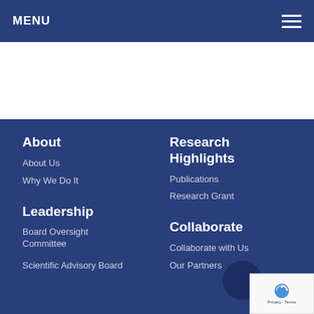MENU
About
About Us
Why We Do It
Leadership
Board Oversight Committee
Scientific Advisory Board
Research Highlights
Publications
Research Grant
Collaborate
Collaborate with Us
Our Partners